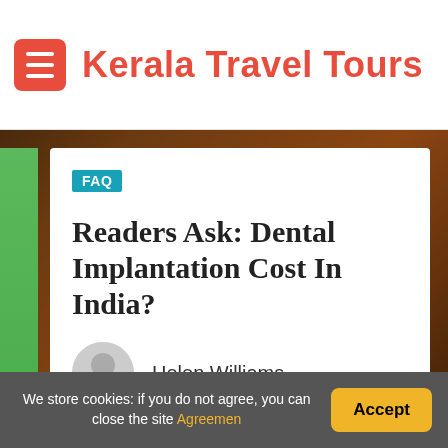Kerala Travel Tours
FAQ
Readers Ask: Dental Implantation Cost In India?
Helen Williams
0
We store cookies: if you do not agree, you can close the site Agreemen